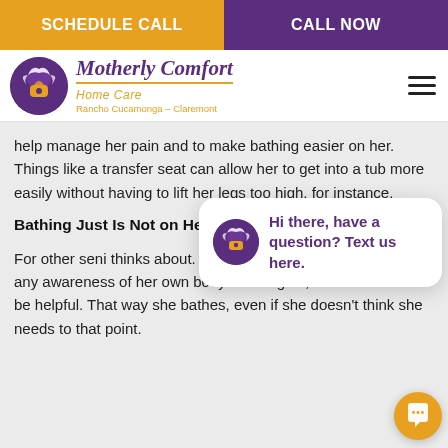SCHEDULE CALL | CALL NOW
[Figure (logo): Motherly Comfort Home Care logo with purple circle icon, purple italic text 'Motherly Comfort', orange underline and 'Home Care', orange text 'Rancho Cucamonga – Claremont']
help manage her pain and to make bathing easier on her. Things like a transfer seat can allow her to get into a tub more easily without having to lift her legs too high, for instance.
Bathing Just Is Not on Her Radar
For other seni thinks about. changes to he doesn't experience any awareness of her own body odor. Again, a schedule could be helpful. That way she bathes, even if she doesn't think she needs to that point.
[Figure (screenshot): Chat popup with Motherly Comfort logo icon and text 'Hi there, have a question? Text us here.' and orange chat FAB button]